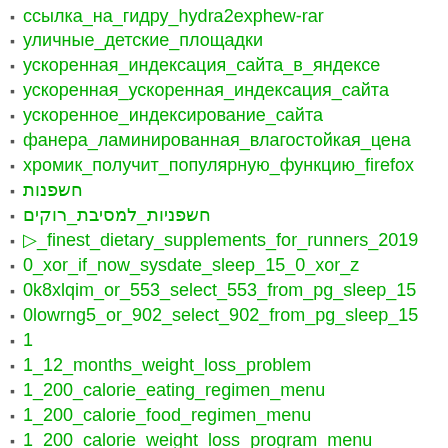ссылка_на_гидру_hydra2exphew-rar
уличные_детские_площадки
ускоренная_индексация_сайта_в_яндексе
ускоренная_ускоренная_индексация_сайта
ускоренное_индексирование_сайта
фанера_ламинированная_влагостойкая_цена
хромик_получит_популярную_функцию_firefox
חשפנות
חשפניות_למסיבת_רוקים
▷_finest_dietary_supplements_for_runners_2019
0_xor_if_now_sysdate_sleep_15_0_xor_z
0k8xlqim_or_553_select_553_from_pg_sleep_15
0lowrng5_or_902_select_902_from_pg_sleep_15
1
1_12_months_weight_loss_problem
1_200_calorie_eating_regimen_menu
1_200_calorie_food_regimen_menu
1_200_calorie_weight_loss_program_menu
1_2527_2522
1_or_2_17-17-1_0_0_0_1
1_or_2_30-30-1_0_0_0_1